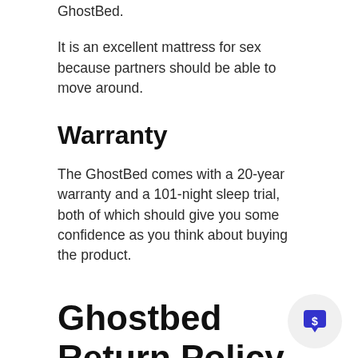GhostBed.
It is an excellent mattress for sex because partners should be able to move around.
Warranty
The GhostBed comes with a 20-year warranty and a 101-night sleep trial, both of which should give you some confidence as you think about buying the product.
Ghostbed Return Policy